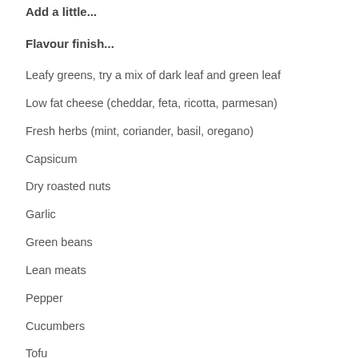Add a little...
Flavour finish...
Leafy greens, try a mix of dark leaf and green leaf
Low fat cheese (cheddar, feta, ricotta, parmesan)
Fresh herbs (mint, coriander, basil, oregano)
Capsicum
Dry roasted nuts
Garlic
Green beans
Lean meats
Pepper
Cucumbers
Tofu